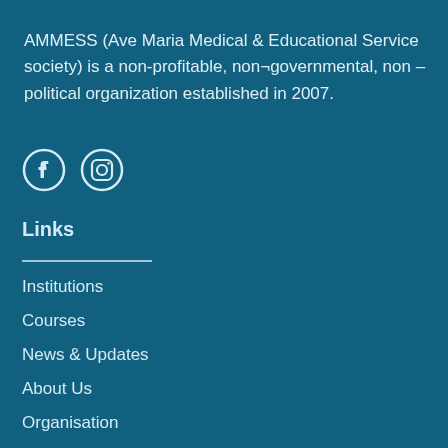AMMESS (Ave Maria Medical & Educational Service society) is a non-profitable, non¬governmental, non –political organization established in 2007.
[Figure (illustration): Facebook and Instagram social media icons in white on teal background]
Links
Institutions
Courses
News & Updates
About Us
Organisation
Contact